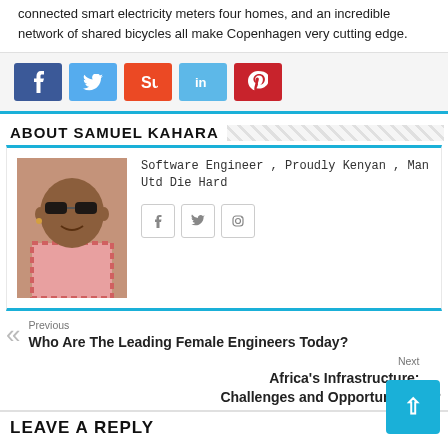connected smart electricity meters four homes, and an incredible network of shared bicycles all make Copenhagen very cutting edge.
[Figure (other): Social share buttons: Facebook (blue), Twitter (light blue), StumbleUpon (orange), LinkedIn (light blue), Pinterest (red)]
ABOUT SAMUEL KAHARA
[Figure (photo): Profile photo of Samuel Kahara wearing sunglasses and a striped shirt]
Software Engineer , Proudly Kenyan , Man Utd Die Hard
[Figure (other): Author social media icons: Facebook, Twitter, Instagram]
Previous
Who Are The Leading Female Engineers Today?
Next
Africa's Infrastructure: Challenges and Opportunities
LEAVE A REPLY